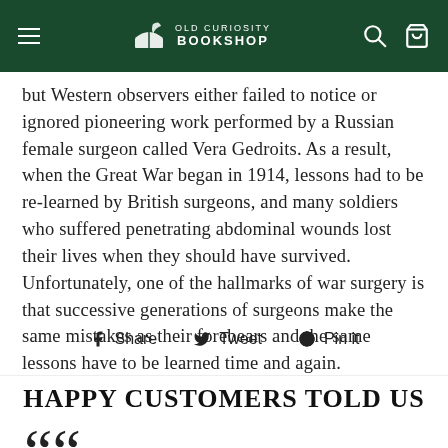OLD CURIOSITY BOOKSHOP
but Western observers either failed to notice or ignored pioneering work performed by a Russian female surgeon called Vera Gedroits. As a result, when the Great War began in 1914, lessons had to be re-learned by British surgeons, and many soldiers who suffered penetrating abdominal wounds lost their lives when they should have survived. Unfortunately, one of the hallmarks of war surgery is that successive generations of surgeons make the same mistakes as their forebears and the same lessons have to be learned time and again.
Share   Tweet   Pin it
HAPPY CUSTOMERS TOLD US
““